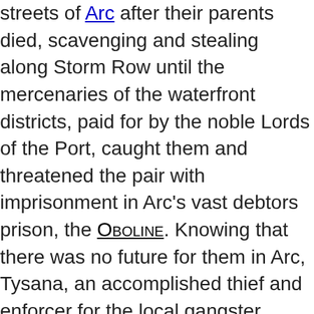streets of Arc after their parents died, scavenging and stealing along Storm Row until the mercenaries of the waterfront districts, paid for by the noble Lords of the Port, caught them and threatened the pair with imprisonment in Arc's vast debtors prison, the Oboline. Knowing that there was no future for them in Arc, Tysana, an accomplished thief and enforcer for the local gangster Kheram Vyle, uncovered the identity of the Mordikhaani spymaster in Arc, known as the resident, and gained passage to the dark and tormented land. She took Yanne with her, knowing that the streets of Arc would destroy the young girl if she was left behind. Tysana's fiery temperament, skill with a long knife and sword, and her ability to understand the anarchic and mercenary nature of Mordikhaan ensured that she and Yanne quickly found a home in the Khul's realm.   Tysana was eventually invited to the Kharis, more commonly known as the Crag, and was given an audience with the Khul herself; she emerged fearful and shaken, but assured Yanne that their futures were now secured and that the great queen had plans for her. Yanne was both fearful and fascinated, wondering how she too might find favour with the Khul, now that it appeared that for once they had a place in the world that they belonged in. They were sent to live in